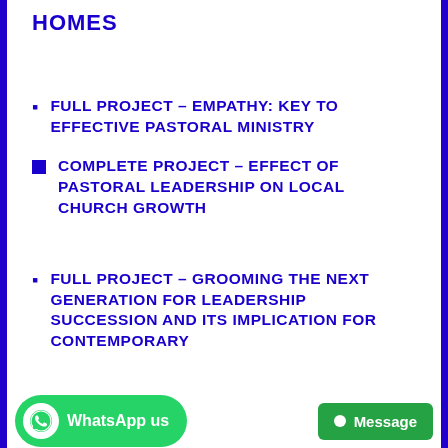HOMES
FULL PROJECT – EMPATHY: KEY TO EFFECTIVE PASTORAL MINISTRY
COMPLETE PROJECT – EFFECT OF PASTORAL LEADERSHIP ON LOCAL CHURCH GROWTH
FULL PROJECT – GROOMING THE NEXT GENERATION FOR LEADERSHIP SUCCESSION AND ITS IMPLICATION FOR CONTEMPORARY